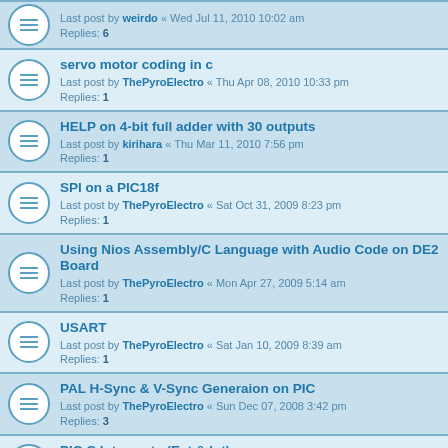servo motor coding in c — Last post by ThePyroElectro « Thu Apr 08, 2010 10:33 pm — Replies: 1
HELP on 4-bit full adder with 30 outputs — Last post by kirihara « Thu Mar 11, 2010 7:56 pm — Replies: 1
SPI on a PIC18f — Last post by ThePyroElectro « Sat Oct 31, 2009 8:23 pm — Replies: 1
Using Nios Assembly/C Language with Audio Code on DE2 Board — Last post by ThePyroElectro « Mon Apr 27, 2009 5:14 am — Replies: 1
USART — Last post by ThePyroElectro « Sat Jan 10, 2009 8:39 am — Replies: 1
PAL H-Sync & V-Sync Generaion on PIC — Last post by ThePyroElectro « Sun Dec 07, 2008 3:42 pm — Replies: 3
PIC C Interrupts (Ext & Int) — Last post by DStealth7 « Sun Nov 30, 2008 7:15 pm — Replies: 2
Basic Robotic Movement — Last post by ThePyroElectro « Thu Sep 04, 2008 3:20 am — Replies: 10
Homemade PCB — Last post by ThePyroElectro « Mon Jul 28, 2008 3:35 pm — Replies: 1
help: a tutorial for remote controlled devices